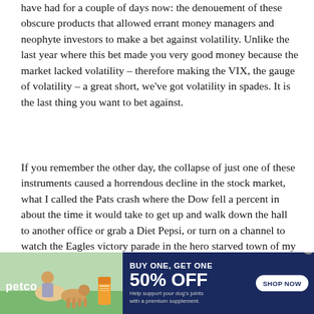have had for a couple of days now: the denouement of these obscure products that allowed errant money managers and neophyte investors to make a bet against volatility. Unlike the last year where this bet made you very good money because the market lacked volatility – therefore making the VIX, the gauge of volatility – a great short, we've got volatility in spades. It is the last thing you want to bet against.
If you remember the other day, the collapse of just one of these instruments caused a horrendous decline in the stock market, what I called the Pats crash where the Dow fell a percent in about the time it would take to get up and walk down the hall to another office or grab a Diet Pepsi, or turn on a channel to watch the Eagles victory parade in the hero starved town of my birth, Philadelphia.
[Figure (infographic): Petco advertisement banner: dark navy blue background. Left side shows photo of woman with golden retriever dog and supplement product. Petco logo in white on left. Text reads 'BUY ONE, GET ONE 50% OFF Help support your dog's joints with a premium supplement.' White 'SHOP NOW' button on right. Small X close button top right.]